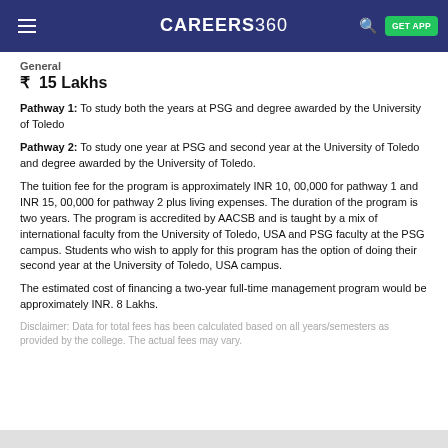CAREERS360
General
₹ 15 Lakhs
Pathway 1: To study both the years at PSG and degree awarded by the University of Toledo
Pathway 2: To study one year at PSG and second year at the University of Toledo and degree awarded by the University of Toledo.
The tuition fee for the program is approximately INR 10, 00,000 for pathway 1 and INR 15, 00,000 for pathway 2 plus living expenses. The duration of the program is two years. The program is accredited by AACSB and is taught by a mix of international faculty from the University of Toledo, USA and PSG faculty at the PSG campus. Students who wish to apply for this program has the option of doing their second year at the University of Toledo, USA campus.
The estimated cost of financing a two-year full-time management program would be approximately INR. 8 Lakhs.
Disclaimer: Data for total fees has been calculated based on all years/semesters as provided by the college. The actual fees may vary.